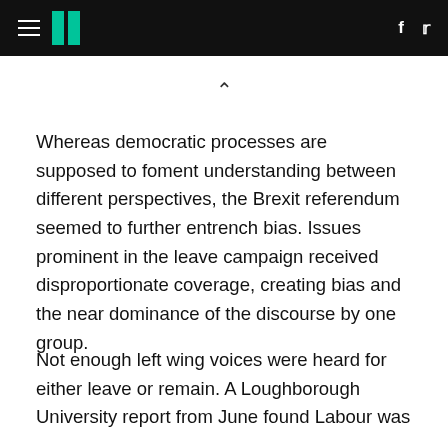HuffPost navigation header with hamburger menu, logo, Facebook and Twitter icons
Whereas democratic processes are supposed to foment understanding between different perspectives, the Brexit referendum seemed to further entrench bias. Issues prominent in the leave campaign received disproportionate coverage, creating bias and the near dominance of the discourse by one group.
Not enough left wing voices were heard for either leave or remain. A Loughborough University report from June found Labour was